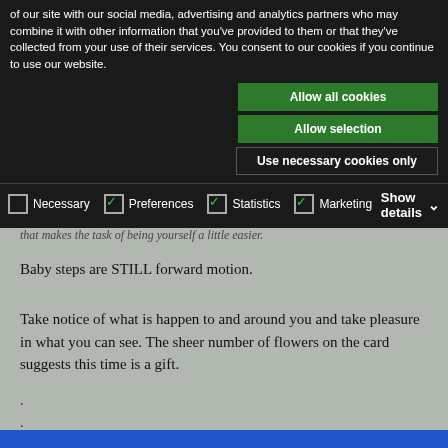of our site with our social media, advertising and analytics partners who may combine it with other information that you've provided to them or that they've collected from your use of their services. You consent to our cookies if you continue to use our website.
Allow all cookies
Allow selection
Use necessary cookies only
Necessary  Preferences  Statistics  Marketing  Show details
that makes the task of being yourself a little easier.
Baby steps are STILL forward motion.
Take notice of what is happen to and around you and take pleasure in what you can see. The sheer number of flowers on the card suggests this time is a gift.
.
.